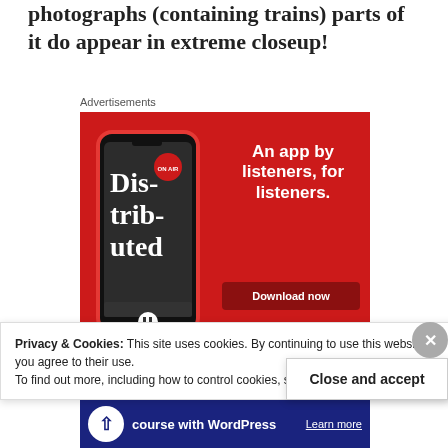photographs (containing trains) parts of it do appear in extreme closeup!
Advertisements
[Figure (screenshot): Advertisement for a podcast app. Red background with a smartphone showing a podcast app interface with 'Distributed' text on screen. Text reads 'An app by listeners, for listeners.' with a 'Download now' button.]
Privacy & Cookies: This site uses cookies. By continuing to use this website, you agree to their use.
To find out more, including how to control cookies, see here: Cookie Policy
Close and accept
[Figure (screenshot): Bottom banner advertisement for a WordPress course with a circular icon showing an upload arrow symbol and text 'course with WordPress' and 'Learn more' link.]